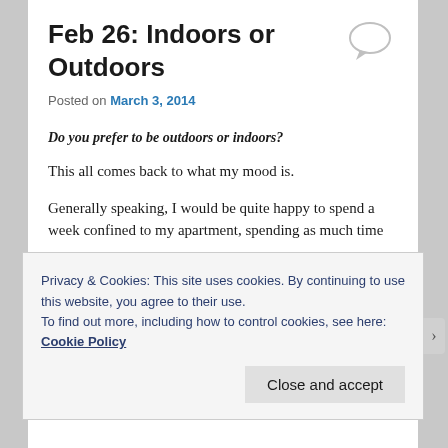Feb 26: Indoors or Outdoors
Posted on March 3, 2014
Do you prefer to be outdoors or indoors?
This all comes back to what my mood is.
Generally speaking, I would be quite happy to spend a week confined to my apartment, spending as much time
Privacy & Cookies: This site uses cookies. By continuing to use this website, you agree to their use.
To find out more, including how to control cookies, see here: Cookie Policy